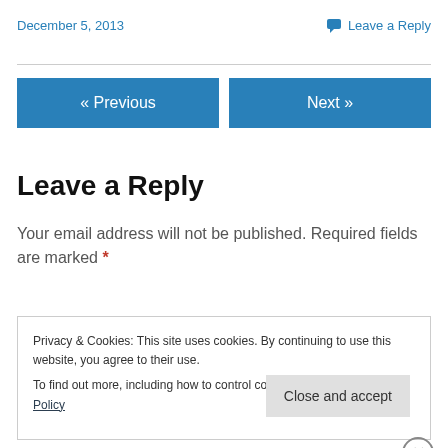December 5, 2013
Leave a Reply
« Previous
Next »
Leave a Reply
Your email address will not be published. Required fields are marked *
Privacy & Cookies: This site uses cookies. By continuing to use this website, you agree to their use.
To find out more, including how to control cookies, see here: Cookie Policy
Close and accept